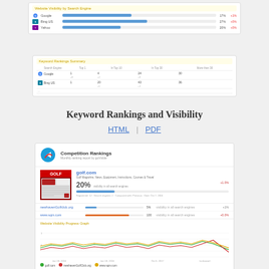[Figure (screenshot): Website Visibility by Search Engine bar chart showing Google, Bing US, and Yahoo with progress bars]
[Figure (screenshot): Keyword Rankings Summary table showing Google and Bing US rows with Top 1, 10, 30 and more columns]
Keyword Rankings and Visibility
HTML | PDF
[Figure (screenshot): Competition Rankings report showing golf.com at 20% visibility, website visibility progress graph with three line series (golf.com, newhavenGolfClub.org, www.sqm.com), and Website Visibility by Search Engine section]